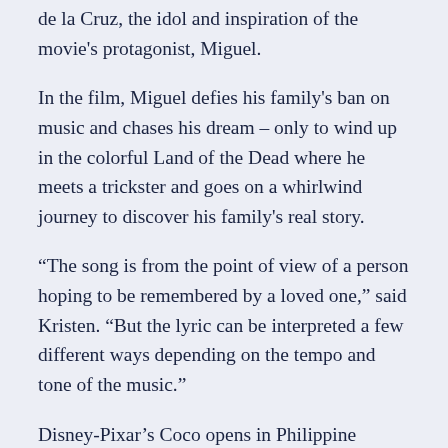de la Cruz, the idol and inspiration of the movie's protagonist, Miguel.
In the film, Miguel defies his family's ban on music and chases his dream – only to wind up in the colorful Land of the Dead where he meets a trickster and goes on a whirlwind journey to discover his family's real story.
“The song is from the point of view of a person hoping to be remembered by a loved one,” said Kristen. “But the lyric can be interpreted a few different ways depending on the tempo and tone of the music.”
Disney-Pixar’s Coco opens in Philippine cinemas on November 22. Walt Disney Animation Studios’ Olaf’s Frozen Adventure, an